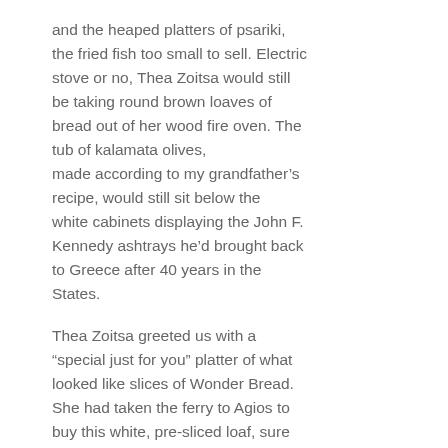and the heaped platters of psariki, the fried fish too small to sell. Electric stove or no, Thea Zoitsa would still be taking round brown loaves of bread out of her wood fire oven. The tub of kalamata olives, made according to my grandfather’s recipe, would still sit below the white cabinets displaying the John F. Kennedy ashtrays he’d brought back to Greece after 40 years in the States.
Thea Zoitsa greeted us with a “special just for you” platter of what looked like slices of Wonder Bread. She had taken the ferry to Agios to buy this white, pre-sliced loaf, sure that it would please our American